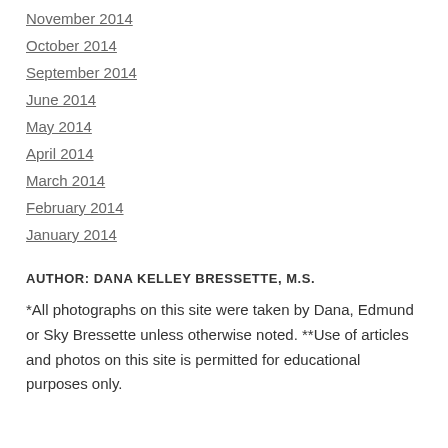November 2014
October 2014
September 2014
June 2014
May 2014
April 2014
March 2014
February 2014
January 2014
AUTHOR: DANA KELLEY BRESSETTE, M.S.
*All photographs on this site were taken by Dana, Edmund or Sky Bressette unless otherwise noted. **Use of articles and photos on this site is permitted for educational purposes only.